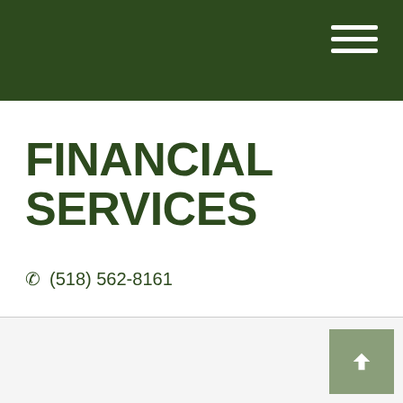FINANCIAL SERVICES
☎ (518) 562-8161